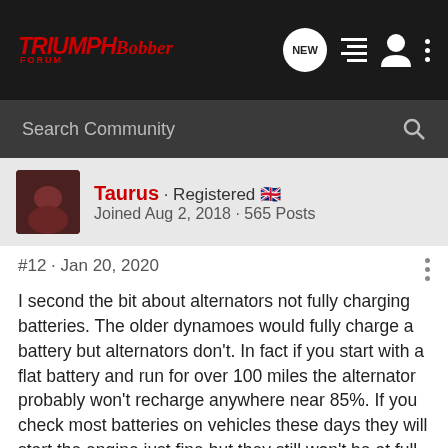Triumph Bobber Forum - NEW
Search Community
Taurus · Registered 🇬🇧
Joined Aug 2, 2018 · 565 Posts
#12 · Jan 20, 2020
I second the bit about alternators not fully charging batteries. The older dynamoes would fully charge a battery but alternators don't. In fact if you start with a flat battery and run for over 100 miles the alternator probably won't recharge anywhere near 85%. If you check most batteries on vehicles these days they will start the engine just fine but they still won't be at full charge. I have CTEK chragers for both bikes and they stay connected whilst in the garage.

You can never tell how long a battery will last - regular use and